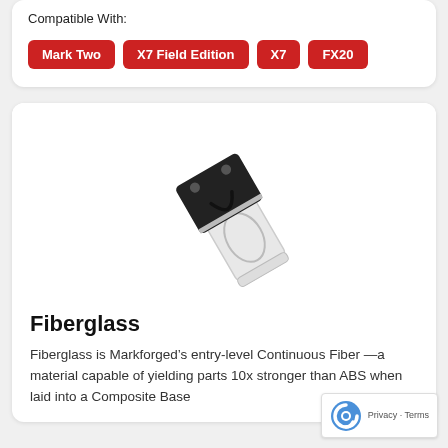Compatible With:
Mark Two
X7 Field Edition
X7
FX20
[Figure (photo): A Markforged continuous fiber spool/cartridge component shown at an angle — black plastic header with two holes attached to a transparent/white fiber spool body.]
Fiberglass
Fiberglass is Markforged’s entry-level Continuous Fiber —a material capable of yielding parts 10x stronger than ABS when laid into a Composite Base